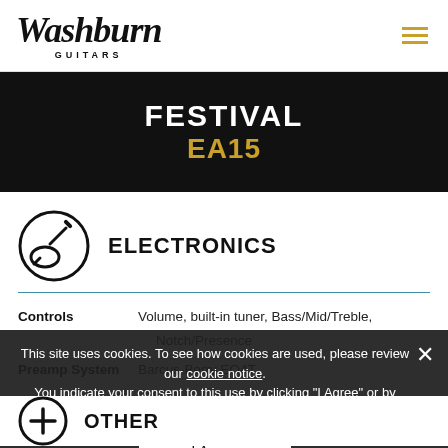[Figure (logo): Washburn Guitars logo — stylized cursive 'Washburn' with 'GUITARS' below in spaced capitals]
FESTIVAL
EA15
[Figure (illustration): Electronics section icon: circle with guitar cable/plug illustration]
ELECTRONICS
Controls: Volume, built-in tuner, Bass/Mid/Treble, Notch/Presence
Preamp System: Barcus-Berry EQ4T
This site uses cookies. To see how cookies are used, please review our cookie notice.
You indicate your consent to this use by clicking "I Agree" or by continuing to use this site.
[Figure (illustration): Other section icon: circle with plus sign]
OTHER